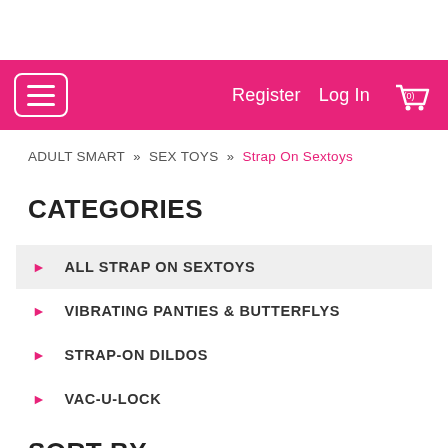Register  Log In  (0)
ADULT SMART » SEX TOYS » Strap On Sextoys
CATEGORIES
ALL STRAP ON SEXTOYS
VIBRATING PANTIES & BUTTERFLYS
STRAP-ON DILDOS
VAC-U-LOCK
SORT BY